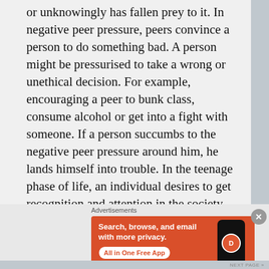or unknowingly has fallen prey to it. In negative peer pressure, peers convince a person to do something bad. A person might be pressurised to take a wrong or unethical decision. For example, encouraging a peer to bunk class, consume alcohol or get into a fight with someone. If a person succumbs to the negative peer pressure around him, he lands himself into trouble. In the teenage phase of life, an individual desires to get recognition and attention in the society and in thirst of that, he is ready to shun his own identity in order to fit into another group whom he admire. He would imitate the lifestyle, clothing pattern, hairstyle, way of interacting and even changes his
Advertisements
[Figure (infographic): DuckDuckGo advertisement banner with orange background showing a smartphone with DuckDuckGo logo. Text reads: Search, browse, and email with more privacy. All in One Free App.]
NEXT PAGE »